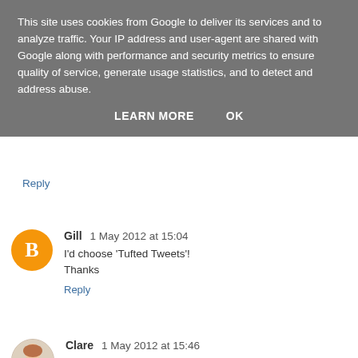This site uses cookies from Google to deliver its services and to analyze traffic. Your IP address and user-agent are shared with Google along with performance and security metrics to ensure quality of service, generate usage statistics, and to detect and address abuse.
LEARN MORE   OK
Reply
Gill  1 May 2012 at 15:04
I'd choose 'Tufted Tweets'!
Thanks
Reply
Clare  1 May 2012 at 15:46
Wow, so many fabrics, so little time!! It's a tough call, but I'm loving the Dressmaker's Collection Tools in red - that is so cute!